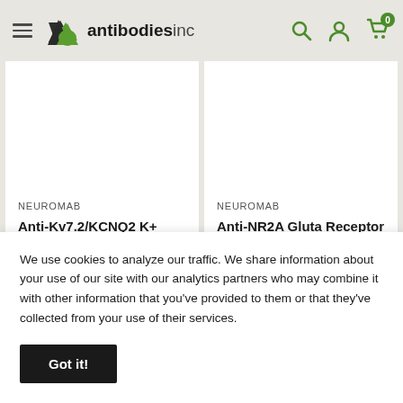antibodies inc
NEUROMAB
Anti-Kv7.2/KCNQ2 K+ Channel Antibody
NEUROMAB
Anti-NR2A Gluta Receptor Antibo
We use cookies to analyze our traffic. We share information about your use of our site with our analytics partners who may combine it with other information that you've provided to them or that they've collected from your use of their services.
Got it!